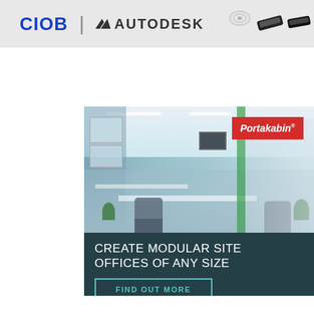[Figure (logo): Top banner with CIOB and Autodesk logos on grey background, with icons in upper right corner]
[Figure (photo): Portakabin advertisement featuring an open-plan modular site office interior with desks, chairs, and plants. Red Portakabin badge in top right. Dark teal lower section with text: CREATE MODULAR SITE OFFICES OF ANY SIZE and a FIND OUT MORE button.]